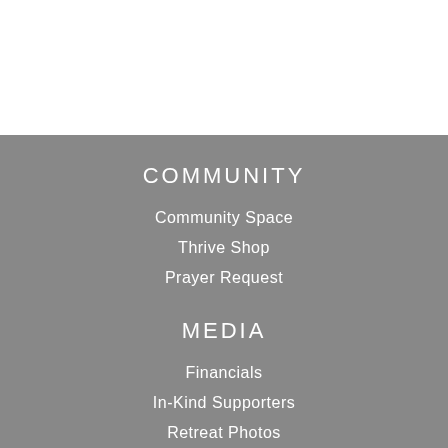COMMUNITY
Community Space
Thrive Shop
Prayer Request
MEDIA
Financials
In-Kind Supporters
Retreat Photos